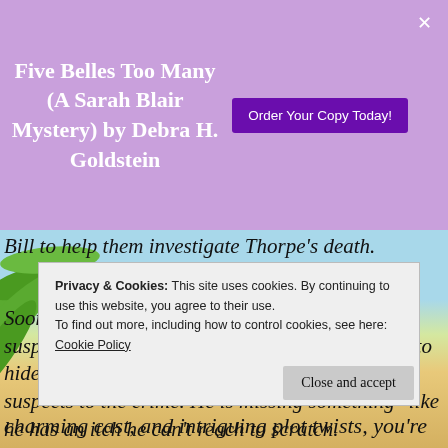Five Belles Too Many (A Sarah Blair Mystery) by Debra H. Goldstein
Bill to help them investigate Thorpe’s death.
Soon, Bill falls into an old routine. Interviewing suspects. Checking alibis. Everyone has a secret to hide, but Bill lacks evidence to tie any of the suspects to the crime. He is missing something--like he has an itch he can’t reach to scratch.
Privacy & Cookies: This site uses cookies. By continuing to use this website, you agree to their use. To find out more, including how to control cookies, see here: Cookie Policy
Close and accept
charming cast, and intriguing plot twists, you’re